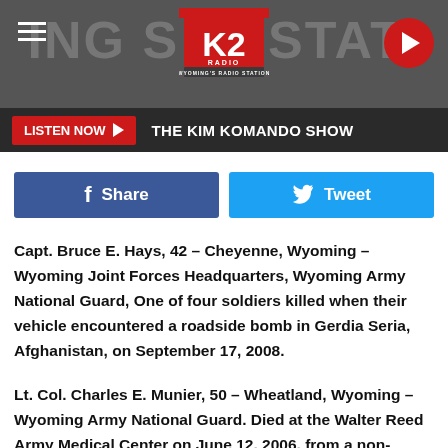K2 Radio — Wyoming's Radio Station
LISTEN NOW  THE KIM KOMANDO SHOW
Share  Tweet
Capt. Bruce E. Hays, 42 – Cheyenne, Wyoming – Wyoming Joint Forces Headquarters, Wyoming Army National Guard, One of four soldiers killed when their vehicle encountered a roadside bomb in Gerdia Seria, Afghanistan, on September 17, 2008.
Lt. Col. Charles E. Munier, 50 – Wheatland, Wyoming – Wyoming Army National Guard. Died at the Walter Reed Army Medical Center on June 12, 2006, from a non-combat related cause which occured in Kabul, Afghanistan, on June 5, 2006.